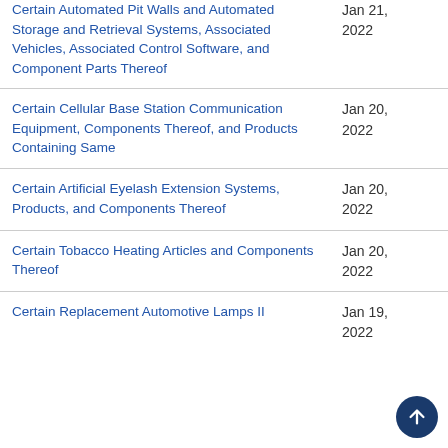Certain Automated Pit Walls and Automated Storage and Retrieval Systems, Associated Vehicles, Associated Control Software, and Component Parts Thereof
Certain Cellular Base Station Communication Equipment, Components Thereof, and Products Containing Same
Certain Artificial Eyelash Extension Systems, Products, and Components Thereof
Certain Tobacco Heating Articles and Components Thereof
Certain Replacement Automotive Lamps II